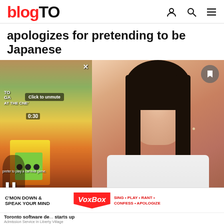blogTO
apologizes for pretending to be Japanese
[Figure (screenshot): Split image: left side shows a video thumbnail of people playing a carnival game at the CNE with 'Click to unmute' overlay and timer showing 0:30; right side shows a photo of a young Asian woman with long black hair wearing a white top, with a bookmark icon in the top right corner.]
[Figure (infographic): VoxBox advertisement banner with text 'C'MON DOWN & SPEAK YOUR MIND' and list 'SING • PLAY • RANT • CONFESS • APOLOGIZE']
Toronto software de... starts up
Admission Service in Liberty Village